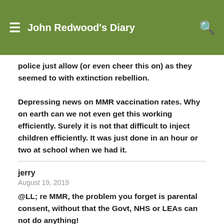John Redwood's Diary
police just allow (or even cheer this on) as they seemed to with extinction rebellion.

Depressing news on MMR vaccination rates. Why on earth can we not even get this working efficiently. Surely it is not that difficult to inject children efficiently. It was just done in an hour or two at school when we had it.
jerry
August 19, 2019
@LL; re MMR, the problem you forget is parental consent, without that the Govt, NHS or LEAs can not do anything!